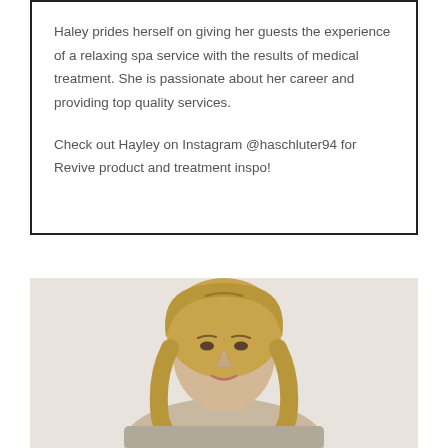Haley prides herself on giving her guests the experience of a relaxing spa service with the results of medical treatment. She is passionate about her career and providing top quality services.

Check out Hayley on Instagram @haschluter94 for Revive product and treatment inspo!
[Figure (photo): Portrait photo of a blonde woman from shoulders up, against a light beige/cream background]